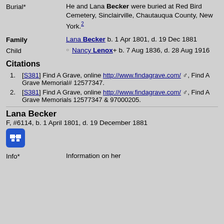Burial* — He and Lana Becker were buried at Red Bird Cemetery, Sinclairville, Chautauqua County, New York.[2]
Family — Lana Becker b. 1 Apr 1801, d. 19 Dec 1881
Child — Nancy Lenox+ b. 7 Aug 1836, d. 28 Aug 1916
Citations
1. [S381] Find A Grave, online http://www.findagrave.com/, Find A Grave Memorial# 12577347.
2. [S381] Find A Grave, online http://www.findagrave.com/, Find A Grave Memorials 12577347 & 97000205.
Lana Becker
F, #6114, b. 1 April 1801, d. 19 December 1881
Info*  Information on her